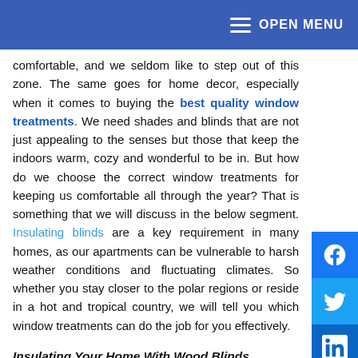OPEN MENU
comfortable, and we seldom like to step out of this zone. The same goes for home decor, especially when it comes to buying the best quality window treatments. We need shades and blinds that are not just appealing to the senses but those that keep the indoors warm, cozy and wonderful to be in. But how do we choose the correct window treatments for keeping us comfortable all through the year? That is something that we will discuss in the below segment. Insulating blinds are a key requirement in many homes, as our apartments can be vulnerable to harsh weather conditions and fluctuating climates. So whether you stay closer to the polar regions or reside in a hot and tropical country, we will tell you which window treatments can do the job for you effectively.
Insulating Your Home With Wood Blinds